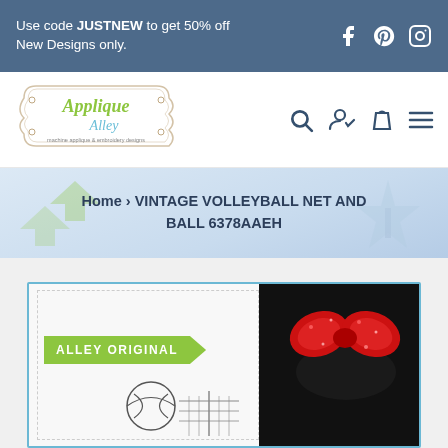Use code JUSTNEW to get 50% off New Designs only.
[Figure (logo): Applique Alley logo with decorative frame, machine applique & embroidery designs]
Home › VINTAGE VOLLEYBALL NET AND BALL 6378AAEH
[Figure (photo): Product image showing volleyball net embroidery design with ALLEY ORIGINAL badge and red sparkly bow on black fabric]